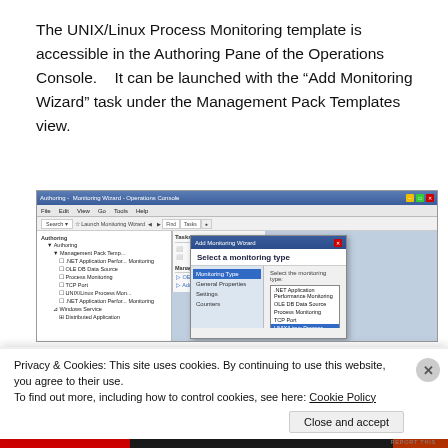The UNIX/Linux Process Monitoring template is accessible in the Authoring Pane of the Operations Console.    It can be launched with the “Add Monitoring Wizard” task under the Management Pack Templates view.
[Figure (screenshot): Screenshot of the Operations Console showing the Add Monitoring Wizard dialog with monitoring type selection list including UNIX/Linux Process Monitoring option highlighted.]
Privacy & Cookies: This site uses cookies. By continuing to use this website, you agree to their use.
To find out more, including how to control cookies, see here: Cookie Policy
Close and accept